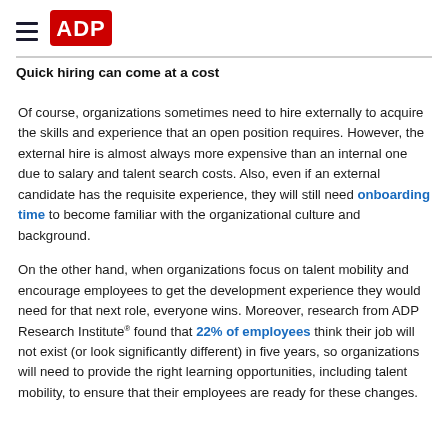ADP
Quick hiring can come at a cost
Of course, organizations sometimes need to hire externally to acquire the skills and experience that an open position requires. However, the external hire is almost always more expensive than an internal one due to salary and talent search costs. Also, even if an external candidate has the requisite experience, they will still need onboarding time to become familiar with the organizational culture and background.
On the other hand, when organizations focus on talent mobility and encourage employees to get the development experience they would need for that next role, everyone wins. Moreover, research from ADP Research Institute® found that 22% of employees think their job will not exist (or look significantly different) in five years, so organizations will need to provide the right learning opportunities, including talent mobility, to ensure that their employees are ready for these changes.